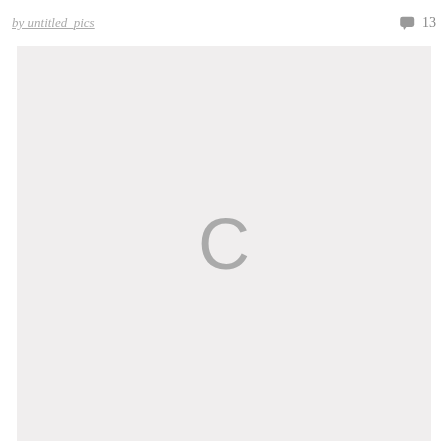by untitled_pics   13
[Figure (photo): A loading placeholder image area with a light gray background and a gray letter C in the center, indicating an image that has not yet loaded.]